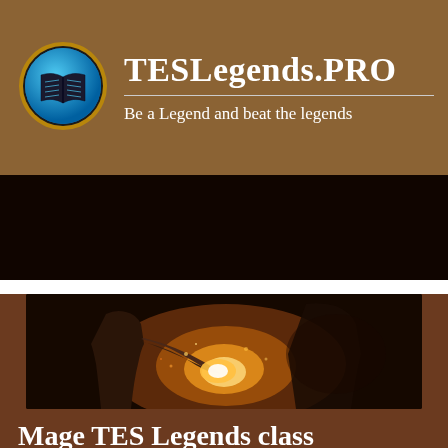TESLegends.PRO
Be a Legend and beat the legends
[Figure (photo): A fantasy game character, a woman in dark clothing channeling a bright glowing fire or energy in her hands, with a dark mysterious figure behind her on the right. Dark, dramatic fantasy artwork.]
Mage TES Legends class